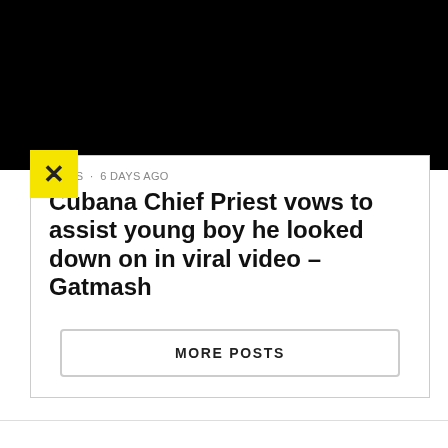[Figure (photo): Black rectangle representing a video or image placeholder at the top of a webpage screenshot]
NEWS · 6 days ago
Cubana Chief Priest vows to assist young boy he looked down on in viral video – Gatmash
MORE POSTS